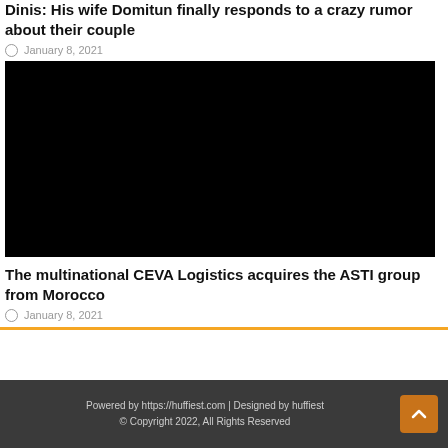Dinis: His wife Domitun finally responds to a crazy rumor about their couple
January 8, 2021
[Figure (photo): Black image placeholder for article photo]
The multinational CEVA Logistics acquires the ASTI group from Morocco
January 8, 2021
Powered by https://huffiest.com | Designed by huffiest © Copyright 2022, All Rights Reserved